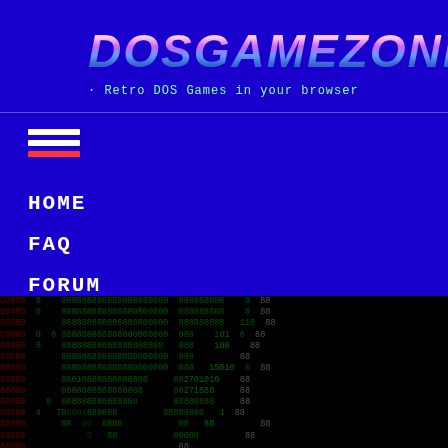DOSGAMEZONE
· Retro DOS Games in your browser
HOME
FAQ
FORUM
CONTACT
[Figure (screenshot): Binary/hex character display resembling a DOS game screen with green digits on black background, with red digits on the left column]